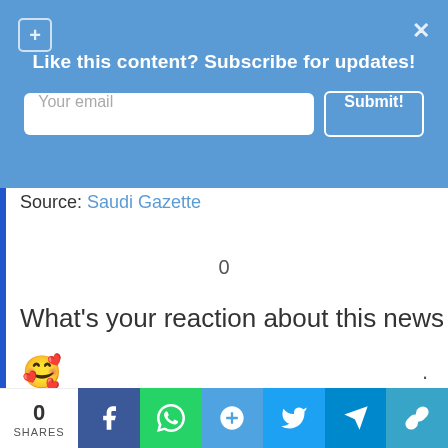Like this content? Subscribe for updates!
Your email
Submit!
Source: Saudi Gazette
0
What's your reaction about this news
( )
0 SHARES